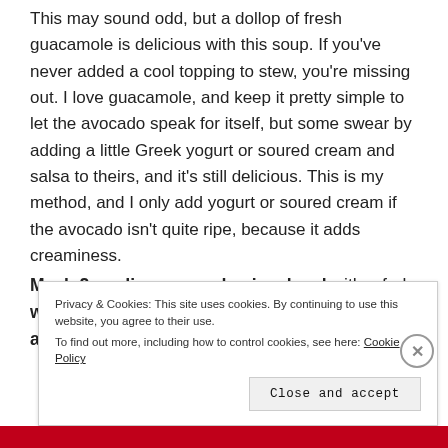This may sound odd, but a dollop of fresh guacamole is delicious with this soup. If you've never added a cool topping to stew, you're missing out. I love guacamole, and keep it pretty simple to let the avocado speak for itself, but some swear by adding a little Greek yogurt or soured cream and salsa to theirs, and it's still delicious. This is my method, and I only add yogurt or soured cream if the avocado isn't quite ripe, because it adds creaminess.
Mash 2 medium avocados in a bowl with a fork with lime juice, dry or fresh garlic and cumin and/or
Privacy & Cookies: This site uses cookies. By continuing to use this website, you agree to their use.
To find out more, including how to control cookies, see here: Cookie Policy